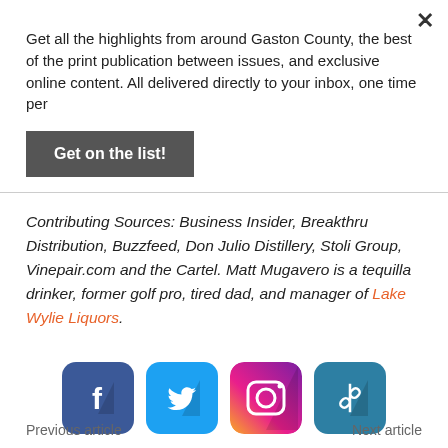Get all the highlights from around Gaston County, the best of the print publication between issues, and exclusive online content. All delivered directly to your inbox, one time per
Get on the list!
Contributing Sources: Business Insider, Breakthru Distribution, Buzzfeed, Don Julio Distillery, Stoli Group, Vinepair.com and the Cartel. Matt Mugavero is a tequilla drinker, former golf pro, tired dad, and manager of Lake Wylie Liquors.
[Figure (logo): Facebook icon - blue rounded square with white F]
[Figure (logo): Twitter icon - blue rounded square with white bird]
[Figure (logo): Instagram icon - gradient rounded square with camera outline]
[Figure (logo): Link/chain icon - teal rounded square with chain link symbol]
Previous article    Next article